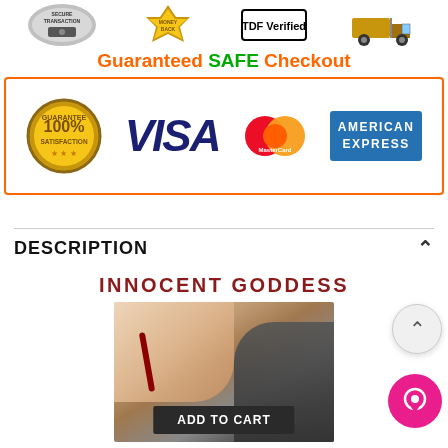[Figure (infographic): Top trust badge icons: Secure Transaction, Money Back guarantee, TDF Verified, Fast Shipping truck]
[Figure (infographic): Guaranteed SAFE Checkout banner with orange border containing: 100% Guarantee Satisfaction gold badge, VISA logo in blue, MasterCard logo, American Express logo in blue]
DESCRIPTION
INNOCENT GODDESS
[Figure (photo): Product photo of a doll/figure with an ADD TO CART button overlay at the bottom]